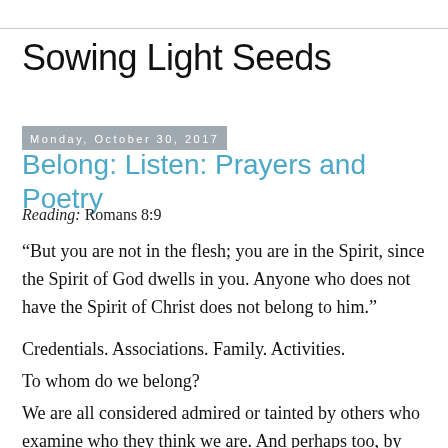Sowing Light Seeds
Monday, October 30, 2017
Belong: Listen: Prayers and Poetry
Reading: Romans 8:9
“But you are not in the flesh; you are in the Spirit, since the Spirit of God dwells in you. Anyone who does not have the Spirit of Christ does not belong to him.”
Credentials. Associations. Family. Activities.
To whom do we belong?
We are all considered admired or tainted by others who examine who they think we are. And perhaps too, by whom we think we are, because of our heritage, education, and life decisions. A mix of...